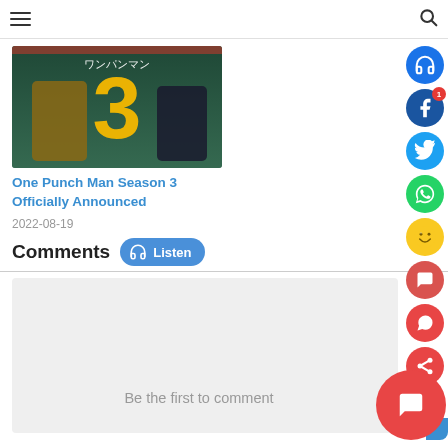Navigation bar with hamburger menu and search icon
[Figure (photo): One Punch Man Season 3 anime promotional image showing character with large golden number 3]
One Punch Man Season 3 Officially Announced
2022-08-19
Comments
[Figure (other): Gray empty comments box area]
Be the first to comment